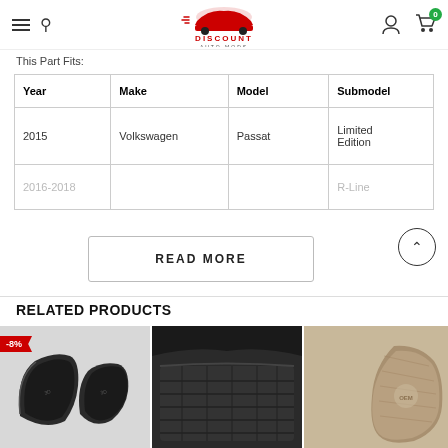Discount Auto Mods
This Part Fits:
| Year | Make | Model | Submodel |
| --- | --- | --- | --- |
| 2015 | Volkswagen | Passat | Limited Edition |
| 2016-2018 |  |  | R-Line |
RELATED PRODUCTS
[Figure (photo): Black car floor mats product photo with -8% discount badge]
[Figure (photo): Dark rubber car floor mat installed in vehicle]
[Figure (photo): Tan/beige car floor mat product photo]